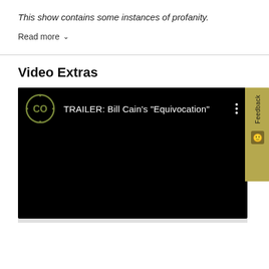This show contains some instances of profanity.
Read more ∨
Video Extras
[Figure (screenshot): Video player thumbnail showing TRAILER: Bill Cain's "Equivocation" with a circular CO logo on a black background. A three-dot menu icon appears on the right side.]
Feedback